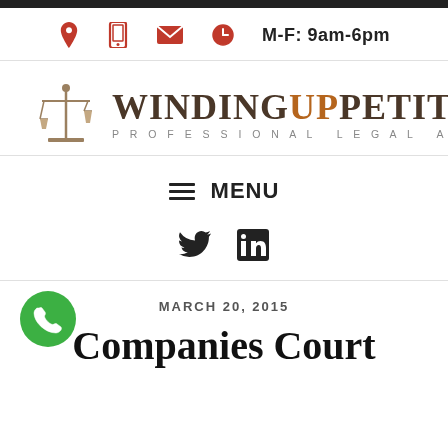M-F: 9am-6pm
[Figure (logo): WindingUpPetitions - Professional Legal Advice logo with scales of justice icon]
MENU
[Figure (infographic): Twitter and LinkedIn social media icons]
MARCH 20, 2015
Companies Court